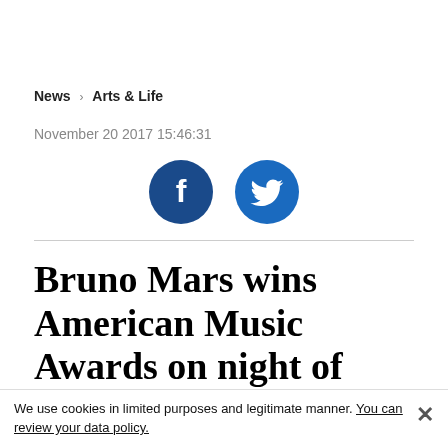News > Arts & Life
November 20 2017 15:46:31
[Figure (illustration): Facebook and Twitter social share icons as dark blue circles with white logos]
Bruno Mars wins American Music Awards on night of divas
LOS ANGELES - AFP
We use cookies in limited purposes and legitimate manner. You can review your data policy.